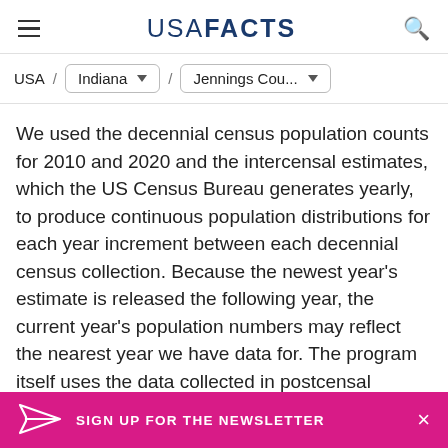USA FACTS
USA / Indiana / Jennings Cou...
We used the decennial census population counts for 2010 and 2020 and the intercensal estimates, which the US Census Bureau generates yearly, to produce continuous population distributions for each year increment between each decennial census collection. Because the newest year's estimate is released the following year, the current year's population numbers may reflect the nearest year we have data for. The program itself uses the data collected in postcensal population estimates and the 10-year census.
SIGN UP FOR THE NEWSLETTER